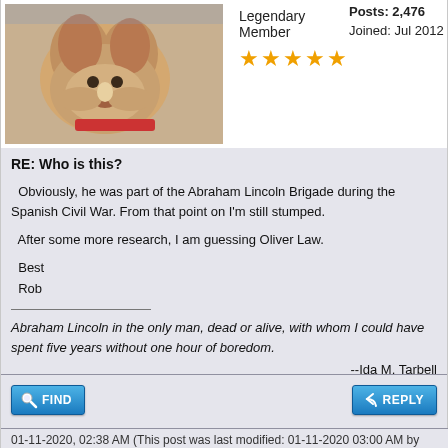Legendary Member
Posts: 2,476
Joined: Jul 2012
RE: Who is this?
Obviously, he was part of the Abraham Lincoln Brigade during the Spanish Civil War. From that point on I'm still stumped.

After some more research, I am guessing Oliver Law.

Best
Rob
Abraham Lincoln in the only man, dead or alive, with whom I could have spent five years without one hour of boredom.

--Ida M. Tarbell
I want the respect of intelligent men, but I will choose for myself the intelligent.

--Carl Sandburg
01-11-2020, 02:38 AM (This post was last modified: 01-11-2020 03:00 AM by AussieMick.)